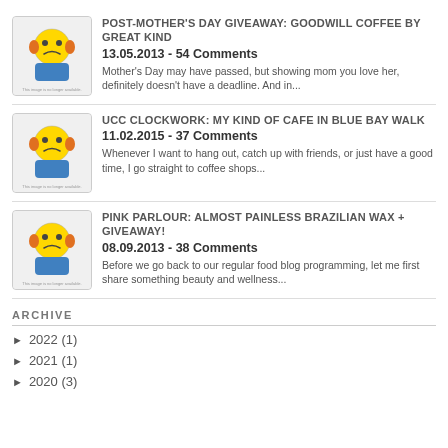POST-MOTHER'S DAY GIVEAWAY: GOODWILL COFFEE BY GREAT KIND
13.05.2013 - 54 Comments
Mother's Day may have passed, but showing mom you love her, definitely doesn't have a deadline. And in...
UCC CLOCKWORK: MY KIND OF CAFE IN BLUE BAY WALK
11.02.2015 - 37 Comments
Whenever I want to hang out, catch up with friends, or just have a good time, I go straight to coffee shops...
PINK PARLOUR: ALMOST PAINLESS BRAZILIAN WAX + GIVEAWAY!
08.09.2013 - 38 Comments
Before we go back to our regular food blog programming, let me first share something beauty and wellness...
ARCHIVE
► 2022 (1)
► 2021 (1)
► 2020 (3)